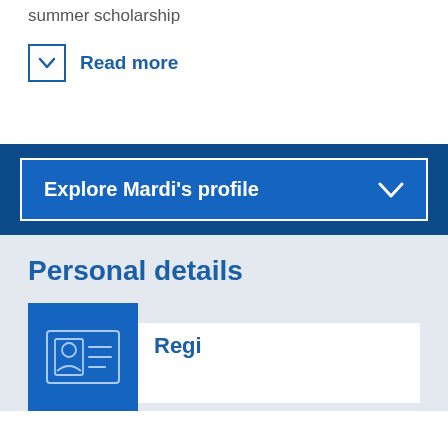summer scholarship
Read more
Explore Mardi's profile
Personal details
[Figure (illustration): Blue ID card icon with person silhouette and horizontal lines representing text]
Regi...